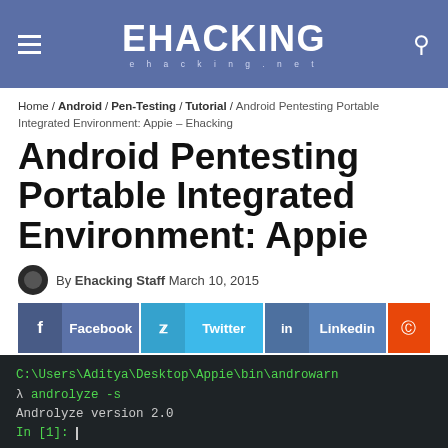EHACKING ehacking.net
Home / Android / Pen-Testing / Tutorial / Android Pentesting Portable Integrated Environment: Appie - Ehacking
Android Pentesting Portable Integrated Environment: Appie
By Ehacking Staff March 10, 2015
Facebook | Twitter | Linkedin
[Figure (screenshot): Terminal window showing: C:\Users\Aditya\Desktop\Appie\bin\androwarn, lambda androlyze -s, Androlyze version 2.0, In [1]:]